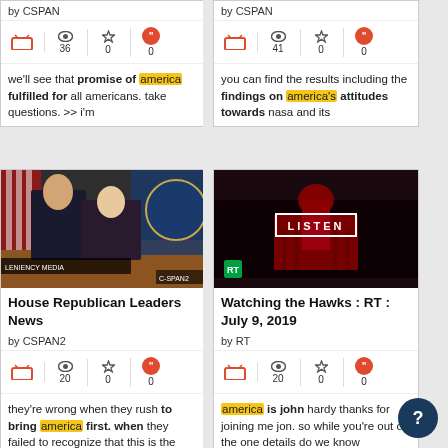by CSPAN
36  0  0
we'll see that promise of america fulfilled for all americans. take questions. >> i'm
by CSPAN
41  0  0
you can find the results including the findings on america's attitudes towards nasa and its
[Figure (photo): House Republican Leaders News conference photo with two politicians in front of American flags, CSPAN2 logo visible]
House Republican Leaders News
by CSPAN2
20  0  0
they're wrong when they rush to bring america first. when they failed to recognize that this is the
[Figure (photo): Watching the Hawks RT July 9 2019 - dark image with Capitol building in red and LISTEN text overlay]
Watching the Hawks : RT : July 9, 2019
by RT
20  0  0
america is john hardy thanks for joining me jon. so while you're out of the one details do we know